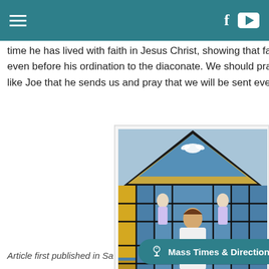Navigation bar with hamburger menu, Facebook icon, and YouTube icon
time he has lived with faith in Jesus Christ, showing that fait even before his ordination to the diaconate. We should praise like Joe that he sends us and pray that we will be sent even m
[Figure (photo): Stained glass window of a church depicting Jesus Christ with a sacred heart, angels, and a dove, in a triangular/gabled composition with blue, gold, and white glass panels]
Article first published in Sa                                             00
Mass Times & Directions